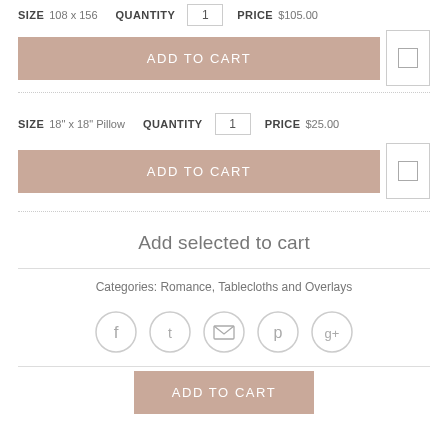SIZE 108 x 156   QUANTITY 1   PRICE $105.00
ADD TO CART
SIZE 18" x 18" Pillow   QUANTITY 1   PRICE $25.00
ADD TO CART
Add selected to cart
Categories: Romance, Tablecloths and Overlays
[Figure (infographic): Row of 5 social media icon circles: Facebook, Twitter, Email, Pinterest, Google+]